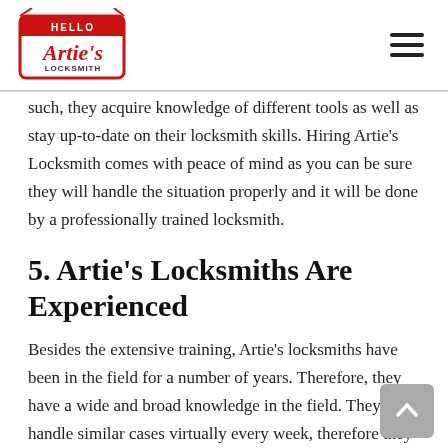Artie's Locksmith
such, they acquire knowledge of different tools as well as stay up-to-date on their locksmith skills. Hiring Artie's Locksmith comes with peace of mind as you can be sure they will handle the situation properly and it will be done by a professionally trained locksmith.
5. Artie's Locksmiths Are Experienced
Besides the extensive training, Artie's locksmiths have been in the field for a number of years. Therefore, they have a wide and broad knowledge in the field. They handle similar cases virtually every week, therefore they have the experience needed. They can offer the best solution for every situation.